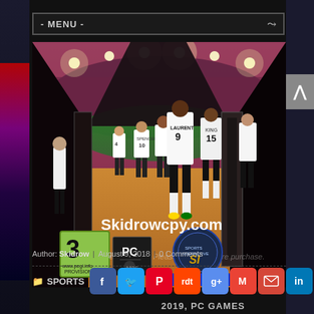- MENU -
[Figure (screenshot): Football Manager 2019 game screenshot showing soccer players in white jerseys (including LAURENT #9 and player #15) walking out of a tunnel onto a stadium pitch. Rating badges: PEGI 3, PC/Mac, Skidrowcpy.com watermark, Sports Interactive and SEGA logos visible.]
Author: Skidrow | August 9, 2018 | 0 Comments
SPORTS
2019, PC GAMES